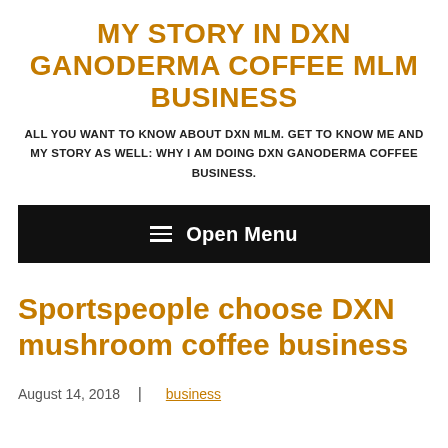MY STORY IN DXN GANODERMA COFFEE MLM BUSINESS
ALL YOU WANT TO KNOW ABOUT DXN MLM. GET TO KNOW ME AND MY STORY AS WELL: WHY I AM DOING DXN GANODERMA COFFEE BUSINESS.
[Figure (screenshot): Black navigation bar with hamburger menu icon and 'Open Menu' label in white text]
Sportspeople choose DXN mushroom coffee business
August 14, 2018  |  business